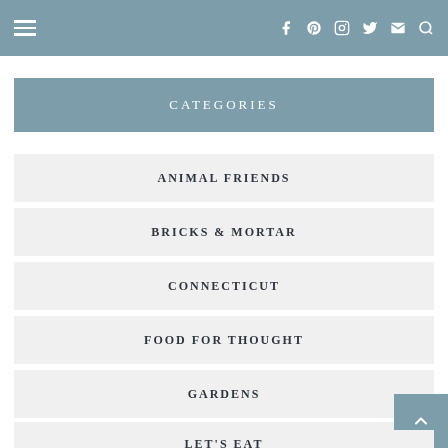≡  f  p  ⊚  t  ✉  🔍
CATEGORIES
ANIMAL FRIENDS
BRICKS & MORTAR
CONNECTICUT
FOOD FOR THOUGHT
GARDENS
INTRIGUING PEOPLE
LET'S EAT